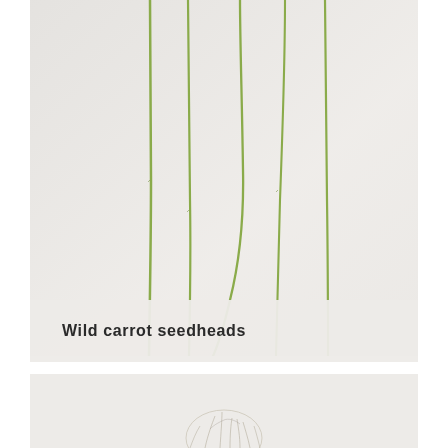[Figure (photo): Wild carrot seedheads photographed against a light grey/white background. Several long, slender green stems arranged vertically, some with slight curves near the bottom, viewed from above on a flat surface.]
Wild carrot seedheads
[Figure (photo): Partial view of another botanical specimen photographed against a light background, showing what appears to be a dried seedhead or flower structure at the bottom of the frame.]